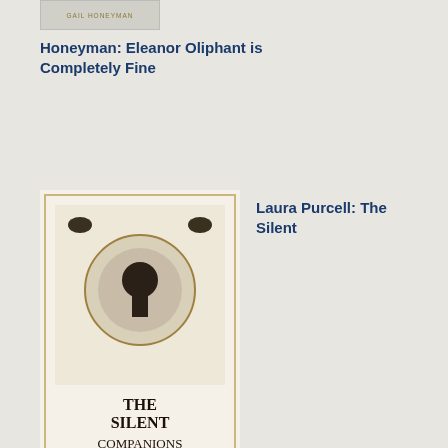[Figure (photo): Book cover for Gail Honeyman: Eleanor Oliphant is Completely Fine]
Honeyman: Eleanor Oliphant is Completely Fine
[Figure (photo): Book cover for The Silent Companions by Laura Purcell]
Laura Purcell: The Silent
Companions: A ghost story
[Figure (photo): Book cover for Magic Flutes by Eva]
Eva
loo
on
her
fac
was
the
lad
lad
out
the
foo
Glo
sin
but
nev
the
san
afte
his
bru
with
leu
Ho